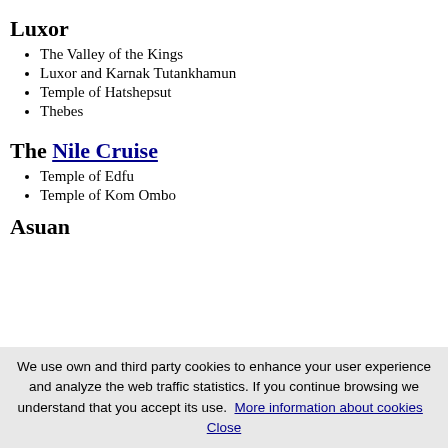Luxor
The Valley of the Kings
Luxor and Karnak Tutankhamun
Temple of Hatshepsut
Thebes
The Nile Cruise
Temple of Edfu
Temple of Kom Ombo
Asuan
We use own and third party cookies to enhance your user experience and analyze the web traffic statistics. If you continue browsing we understand that you accept its use. More information about cookies  Close